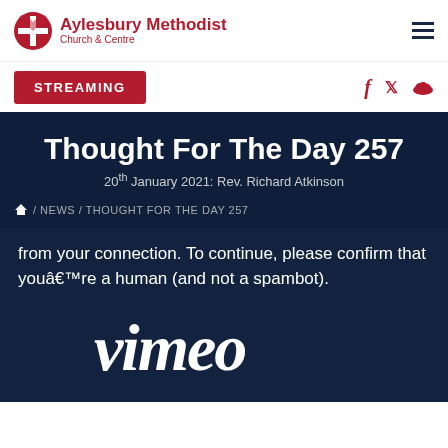Aylesbury Methodist Church & Centre
STREAMING
Thought For The Day 257
20th January 2021: Rev. Richard Atkinson
/ NEWS / THOUGHT FOR THE DAY 257
from your connection. To continue, please confirm that youâ€™re a human (and not a spambot).
[Figure (logo): Vimeo wordmark logo in white on dark navy background]